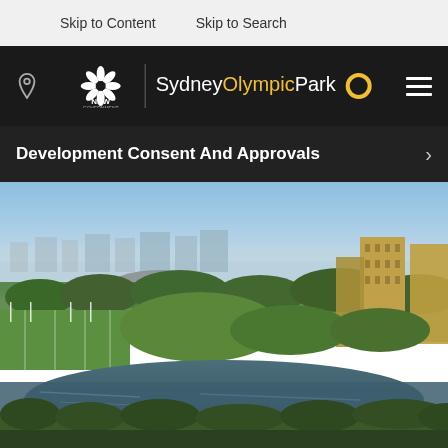Skip to Content   Skip to Search
[Figure (screenshot): NSW Government and Sydney Olympic Park navigation bar with location icon on left, NSW Government logo and Sydney Olympic Park branding in center, and hamburger menu on right, on dark background]
Development Consent And Approvals
[Figure (photo): Aerial photograph of Sydney Olympic Park showing green parklands, a lake/river in the foreground, sports fields, stadium structures, and tall residential towers on the right, under a clear sky]